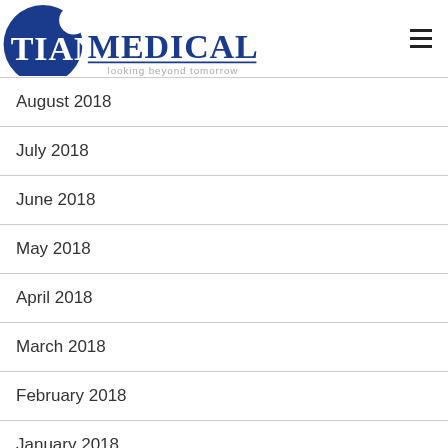Tian Medical
August 2018
July 2018
June 2018
May 2018
April 2018
March 2018
February 2018
January 2018
December 2017